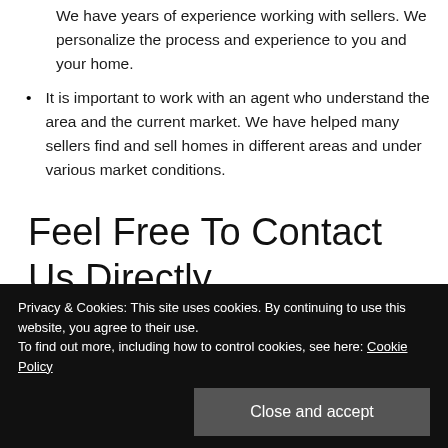We have years of experience working with sellers. We personalize the process and experience to you and your home.
It is important to work with an agent who understand the area and the current market. We have helped many sellers find and sell homes in different areas and under various market conditions.
Feel Free To Contact Us Directly
Privacy & Cookies: This site uses cookies. By continuing to use this website, you agree to their use.
To find out more, including how to control cookies, see here: Cookie Policy